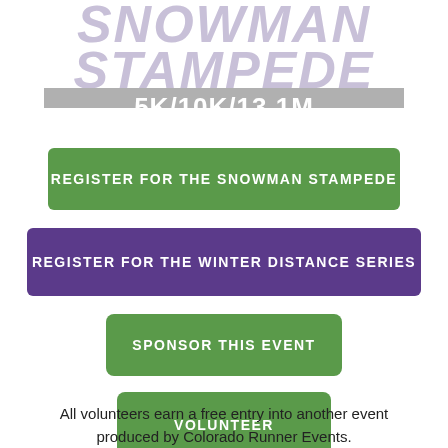[Figure (logo): Snowman Stampede 5K/10K/13.1M event logo with large stylized text and gray banner bar]
REGISTER FOR THE SNOWMAN STAMPEDE
REGISTER FOR THE WINTER DISTANCE SERIES
SPONSOR THIS EVENT
VOLUNTEER
All volunteers earn a free entry into another event produced by Colorado Runner Events.